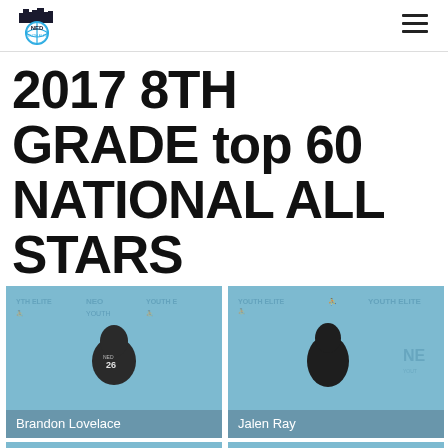NED Youth Elite logo and navigation menu
2017 8TH GRADE top 60 NATIONAL ALL STARS
[Figure (photo): Photo of basketball player Brandon Lovelace wearing NED Youth Elite jersey number 26, standing in front of NED Youth Elite branded backdrop]
Brandon Lovelace
[Figure (photo): Photo of basketball player Jalen Ray wearing NED Youth Elite jersey, standing in front of NED Youth Elite branded backdrop]
Jalen Ray